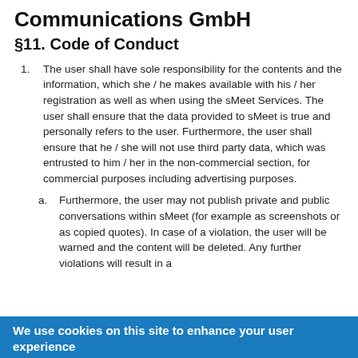Communications GmbH
§11. Code of Conduct
The user shall have sole responsibility for the contents and the information, which she / he makes available with his / her registration as well as when using the sMeet Services. The user shall ensure that the data provided to sMeet is true and personally refers to the user. Furthermore, the user shall ensure that he / she will not use third party data, which was entrusted to him / her in the non-commercial section, for commercial purposes including advertising purposes.
Furthermore, the user may not publish private and public conversations within sMeet (for example as screenshots or as copied quotes). In case of a violation, the user will be warned and the content will be deleted. Any further violations will result in a
We use cookies on this site to enhance your user experience